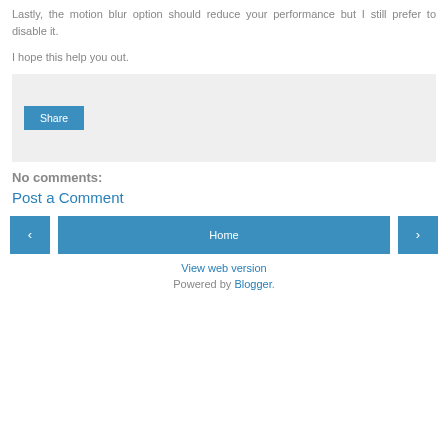Lastly, the motion blur option should reduce your performance but I still prefer to disable it.
I hope this help you out.
[Figure (other): Share button widget area with light gray background containing a blue Share button]
No comments:
Post a Comment
[Figure (other): Navigation row with left arrow button, Home button, and right arrow button]
View web version
Powered by Blogger.